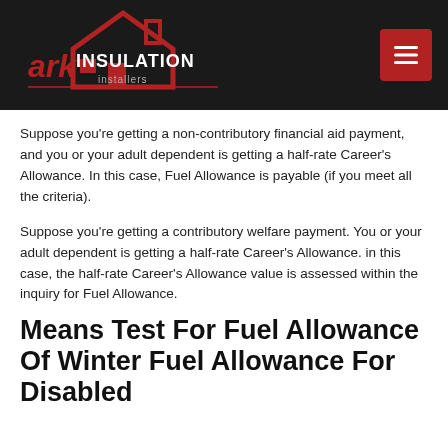ark INSULATION installers
Suppose you're getting a non-contributory financial aid payment, and you or your adult dependent is getting a half-rate Career's Allowance. In this case, Fuel Allowance is payable (if you meet all the criteria).
Suppose you're getting a contributory welfare payment. You or your adult dependent is getting a half-rate Career's Allowance. in this case, the half-rate Career's Allowance value is assessed within the inquiry for Fuel Allowance.
Means Test For Fuel Allowance Of Winter Fuel Allowance For Disabled